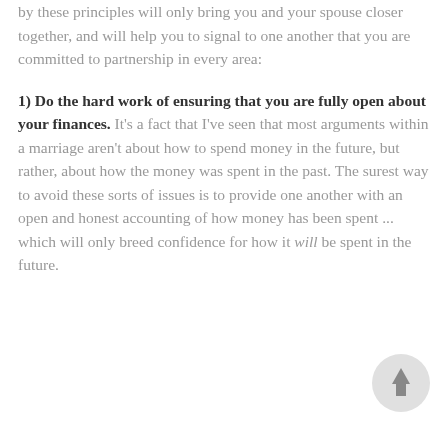by these principles will only bring you and your spouse closer together, and will help you to signal to one another that you are committed to partnership in every area:
1) Do the hard work of ensuring that you are fully open about your finances. It's a fact that I've seen that most arguments within a marriage aren't about how to spend money in the future, but rather, about how the money was spent in the past. The surest way to avoid these sorts of issues is to provide one another with an open and honest accounting of how money has been spent ... which will only breed confidence for how it will be spent in the future.